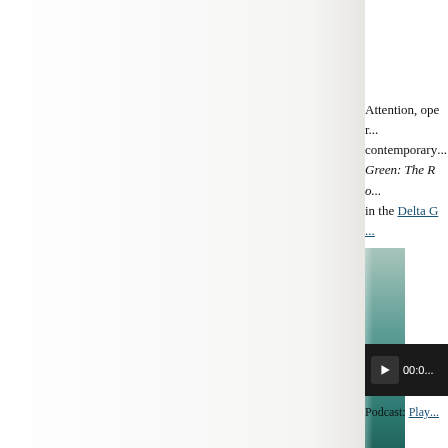Attention, opera lovers and contemporary readers! Green: The Ro... in the Delta G...
[Figure (photo): Partial view of a book cover with teal/green tones, visible on the right edge of the page]
[Figure (other): Podcast audio player widget with play button and timestamp showing 00:0...]
Podcast: Play...